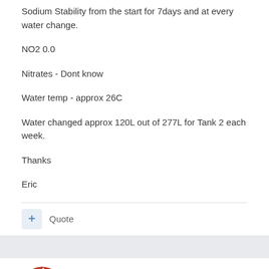Sodium Stability from the start for 7days and at every water change.
NO2 0.0
Nitrates - Dont know
Water temp - approx 26C
Water changed approx 120L out of 277L for Tank 2 each week.
Thanks
Eric
Quote
D6C1
Posted March 28, 2008
Add some salt and bump the temp up to 30deg. White spot cant